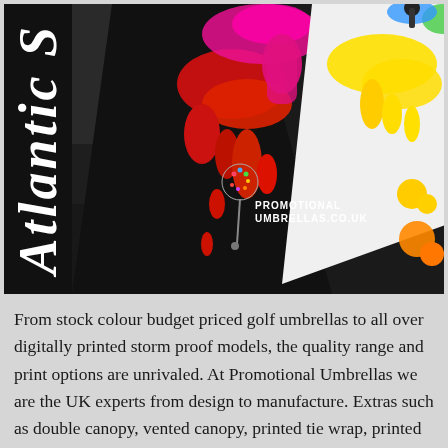[Figure (photo): Photo of colorful painted golf umbrellas laid on a dark ground. Left side has a black vertical banner with italic white text reading 'Atlantic S'. The umbrellas display vibrant paint-splash patterns in red, yellow, pink, and green on black and white canopies. One umbrella shows a logo and text reading 'Promotional Umbrellas.co.uk'.]
From stock colour budget priced golf umbrellas to all over digitally printed storm proof models, the quality range and print options are unrivaled. At Promotional Umbrellas we are the UK experts from design to manufacture. Extras such as double canopy, vented canopy, printed tie wrap, printed